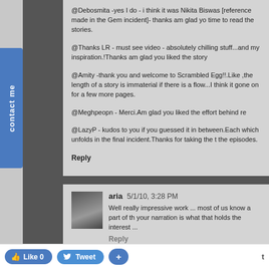@Debosmita -yes I do - i think it was Nikita Biswas [reference made in the Gem incident]- thanks am glad you time to read the stories.
@Thanks LR - must see video - absolutely chilling stuff...and my inspiration.!Thanks am glad you liked the story
@Amity -thank you and welcome to Scrambled Egg!!.Like ,the length of a story is immaterial if there is a flow...I think it gone on for a few more pages.
@Meghpeopn - Merci.Am glad you liked the effort behind re
@LazyP - kudos to you if you guessed it in between.Each which unfolds in the final incident.Thanks for taking the t the episodes.
Reply
aria  5/1/10, 3:28 PM
Well really impressive work ... most of us know a part of th your narration is what that holds the interest ...
Reply